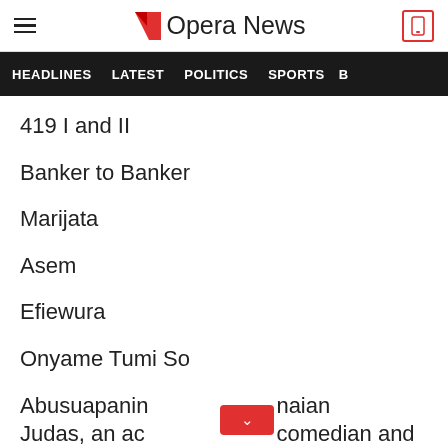Opera News
HEADLINES  LATEST  POLITICS  SPORTS  B
419 I and II
Banker to Banker
Marijata
Asem
Efiewura
Onyame Tumi So
Abusuapanin Judas, an ac[button]naian comedian and